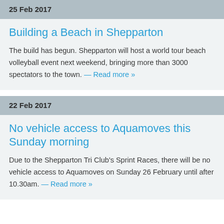25 Feb 2017
Building a Beach in Shepparton
The build has begun. Shepparton will host a world tour beach volleyball event next weekend, bringing more than 3000 spectators to the town. — Read more »
22 Feb 2017
No vehicle access to Aquamoves this Sunday morning
Due to the Shepparton Tri Club's Sprint Races, there will be no vehicle access to Aquamoves on Sunday 26 February until after 10.30am. — Read more »